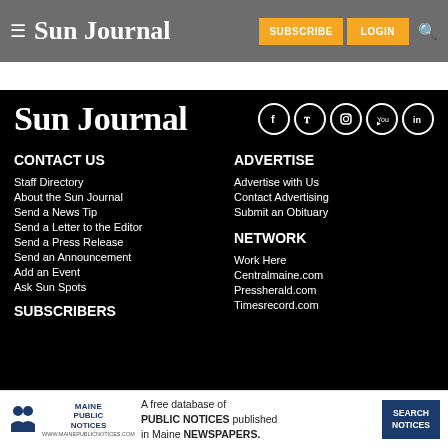Sun Journal — SUBSCRIBE | LOGIN
[Figure (logo): Sun Journal logo in white serif text on black footer background with social media icons (Facebook, Twitter, Instagram, YouTube, LinkedIn)]
CONTACT US
Staff Directory
About the Sun Journal
Send a News Tip
Send a Letter to the Editor
Send a Press Release
Send an Announcement
Add an Event
Ask Sun Spots
SUBSCRIBERS
ADVERTISE
Advertise with Us
Contact Advertising
Submit an Obituary
NETWORK
Work Here
Centralmaine.com
Pressherald.com
Timesrecord.com
[Figure (infographic): Maine Public Notices advertisement banner: A free database of PUBLIC NOTICES published in Maine NEWSPAPERS. SEARCH NOTICES button.]